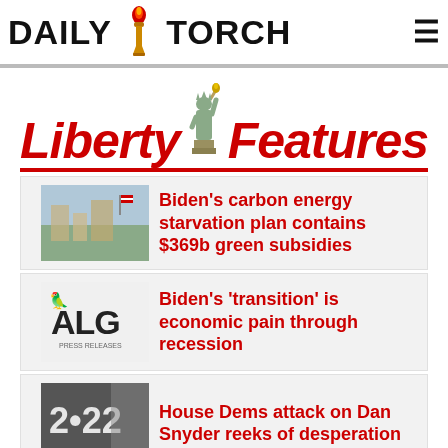DAILY TORCH
Liberty Features
Biden's carbon energy starvation plan contains $369b green subsidies
Biden's 'transition' is economic pain through recession
House Dems attack on Dan Snyder reeks of desperation